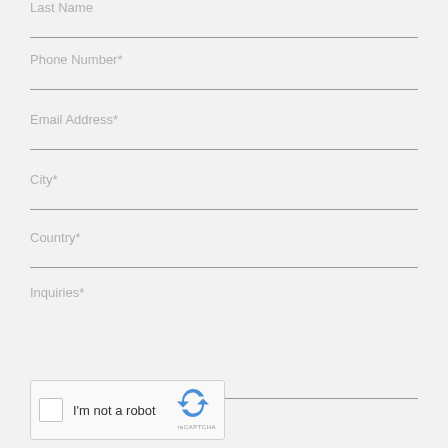Last Name*
Phone Number*
Email Address*
City*
Country*
Inquiries*
[Figure (other): reCAPTCHA widget with checkbox labeled 'I'm not a robot' and reCAPTCHA logo]